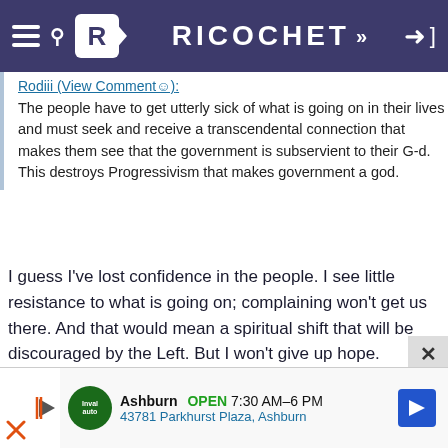RICOCHET
Rodiii (View Comment☺): The people have to get utterly sick of what is going on in their lives and must seek and receive a transcendental connection that makes them see that the government is subservient to their G-d. This destroys Progressivism that makes government a god.
I guess I've lost confidence in the people. I see little resistance to what is going on; complaining won't get us there. And that would mean a spiritual shift that will be discouraged by the Left. But I won't give up hope. Thanks.
[Figure (screenshot): Advertisement for Inval Auto in Ashburn: OPEN 7:30AM-6PM, 43781 Parkhurst Plaza, Ashburn]